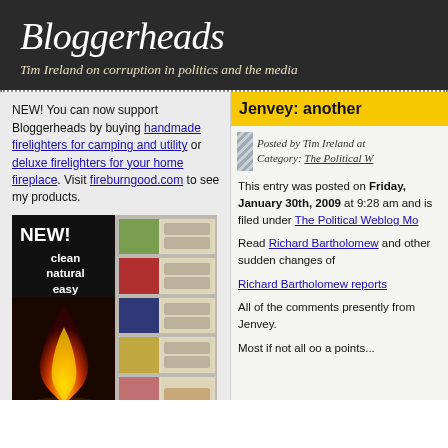Bloggerheads
Tim Ireland on corruption in politics and the media
NEW! You can now support Bloggerheads by buying handmade firelighters for camping and utility or deluxe firelighters for your home fireplace. Visit fireburngood.com to see my products.
[Figure (photo): Advertisement image for firelighters showing flame with text NEW! clean natural easy and product images on right side]
Jenvey: another
Posted by Tim Ireland at
Category: The Political W
This entry was posted on Friday, January 30th, 2009 at 9:28 am and is filed under The Political Weblog Mo
Read Richard Bartholomew and other sudden changes of
Richard Bartholomew reports
All of the comments presently from Jenvey.
Most if not all oo a points...